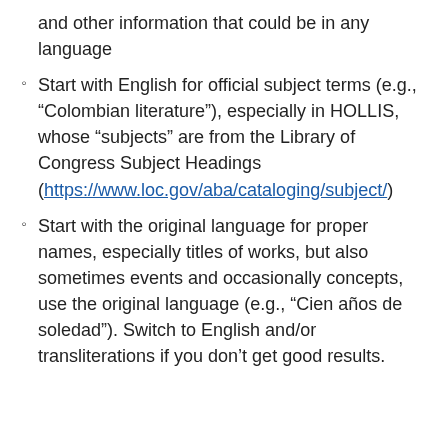and other information that could be in any language
Start with English for official subject terms (e.g., “Colombian literature”), especially in HOLLIS, whose “subjects” are from the Library of Congress Subject Headings (https://www.loc.gov/aba/cataloging/subject/)
Start with the original language for proper names, especially titles of works, but also sometimes events and occasionally concepts, use the original language (e.g., “Cien años de soledad”). Switch to English and/or transliterations if you don’t get good results.